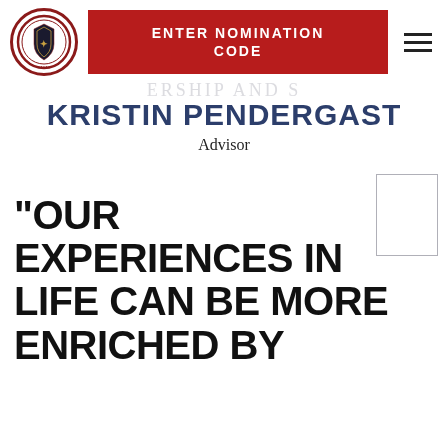ENTER NOMINATION CODE
KRISTIN PENDERGAST
Advisor
"OUR EXPERIENCES IN LIFE CAN BE MORE ENRICHED BY